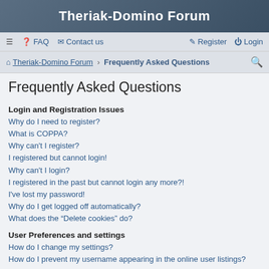Theriak-Domino Forum
≡  FAQ  Contact us  Register  Login
Theriak-Domino Forum › Frequently Asked Questions
Frequently Asked Questions
Login and Registration Issues
Why do I need to register?
What is COPPA?
Why can't I register?
I registered but cannot login!
Why can't I login?
I registered in the past but cannot login any more?!
I've lost my password!
Why do I get logged off automatically?
What does the "Delete cookies" do?
User Preferences and settings
How do I change my settings?
How do I prevent my username appearing in the online user listings?
The times are not correct!
I changed the timezone and the time is still wrong!
My language is not in the list!
What are the images next to my username?